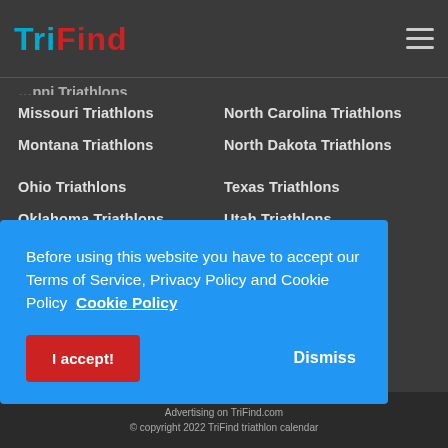TriFind
Missouri Triathlons
North Carolina Triathlons
Montana Triathlons
North Dakota Triathlons
Ohio Triathlons
Texas Triathlons
Oklahoma Triathlons
Utah Triathlons
Oregon Triathlons
Vermont Triathlons
Pennsylvania Triathlons
Virginia Triathlons
Before using this website you have to accept our Terms of Service, Privacy Policy and Cookie Policy Cookie Policy
Advertising on TriFind.com © copyright 2022 TriFind triathlon calendar